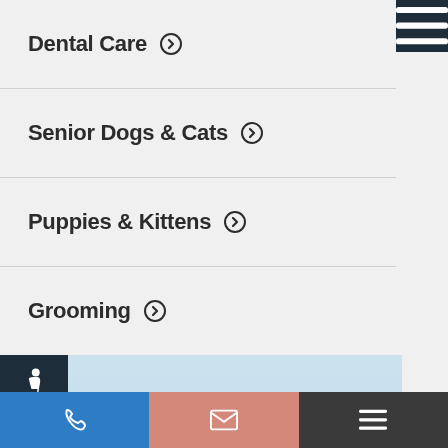Dental Care
Senior Dogs & Cats
Puppies & Kittens
Grooming
[Figure (photo): Golden/brown fluffy dog resting its paws and chin on a piece of driftwood log, looking at the camera with mouth open and tongue slightly out, blue sky background]
Phone | Email | Menu